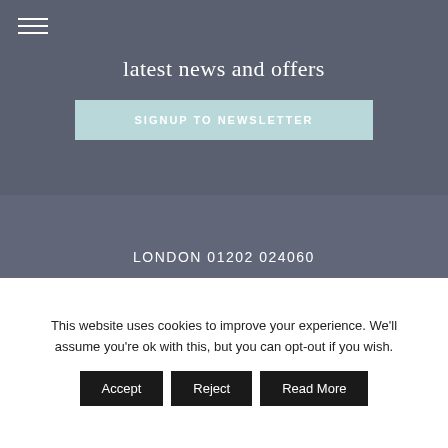latest news and offers
SIGNUP TO NEWSLETTER
LONDON 01202 024060
HAMPSHIRE 01202 024060
DORSET 01202 024060
This website uses cookies to improve your experience. We'll assume you're ok with this, but you can opt-out if you wish.
Accept   Reject   Read More